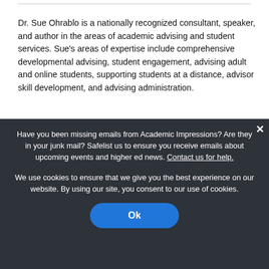Dr. Sue Ohrablo is a nationally recognized consultant, speaker, and author in the areas of academic advising and student services. Sue's areas of expertise include comprehensive developmental advising, student engagement, advising adult and online students, supporting students at a distance, advisor skill development, and advising administration.
Have you been missing emails from Academic Impressions? Are they in your junk mail? Safelist us to ensure you receive emails about upcoming events and higher ed news. Contact us for help.
We use cookies to ensure that we give you the best experience on our website. By using our site, you consent to our use of cookies.